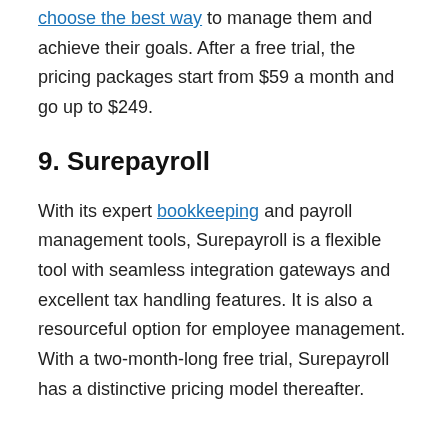choose the best way to manage them and achieve their goals. After a free trial, the pricing packages start from $59 a month and go up to $249.
9. Surepayroll
With its expert bookkeeping and payroll management tools, Surepayroll is a flexible tool with seamless integration gateways and excellent tax handling features. It is also a resourceful option for employee management. With a two-month-long free trial, Surepayroll has a distinctive pricing model thereafter.